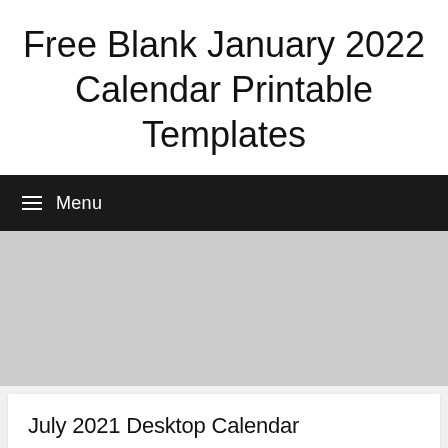Free Blank January 2022 Calendar Printable Templates
Menu
[Figure (other): Gray placeholder/advertisement area]
July 2021 Desktop Calendar